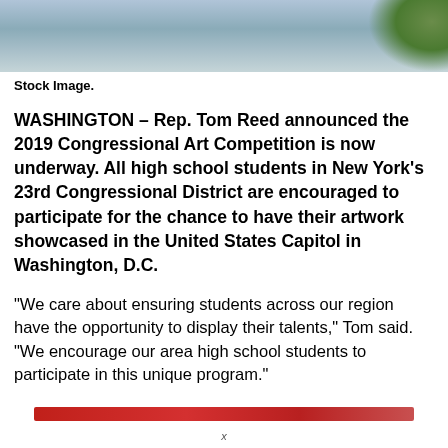[Figure (photo): Exterior photo of a large government or civic building, partially cropped at top, with trees visible on right side.]
Stock Image.
WASHINGTON – Rep. Tom Reed announced the 2019 Congressional Art Competition is now underway. All high school students in New York's 23rd Congressional District are encouraged to participate for the chance to have their artwork showcased in the United States Capitol in Washington, D.C.
“We care about ensuring students across our region have the opportunity to display their talents,” Tom said. “We encourage our area high school students to participate in this unique program.”
[Figure (other): A horizontal red decorative bar or divider element.]
x